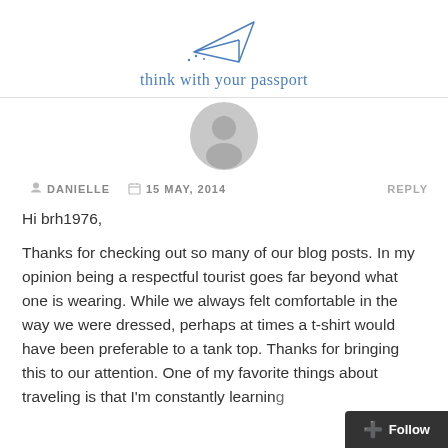[Figure (logo): Paper airplane icon above the text 'think with your passport' in blue handwritten/script font]
[Figure (photo): Gray default user avatar circle with person silhouette]
DANIELLE   15 MAY, 2014   REPLY
Hi brh1976,

Thanks for checking out so many of our blog posts. In my opinion being a respectful tourist goes far beyond what one is wearing. While we always felt comfortable in the way we were dressed, perhaps at times a t-shirt would have been preferable to a tank top. Thanks for bringing this to our attention. One of my favorite things about traveling is that I'm constantly learning
[Figure (other): Follow button in dark gray at bottom right corner with blue plus icon]